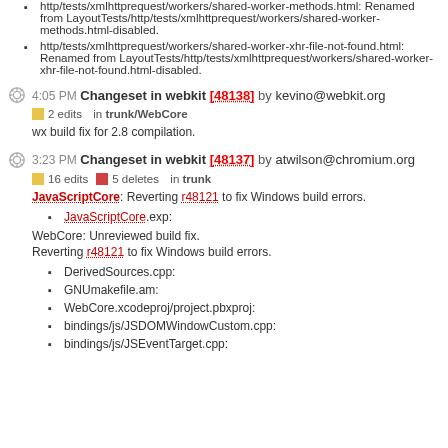http/tests/xmlhttprequest/workers/shared-worker-methods.html: Renamed from LayoutTests/http/tests/xmlhttprequest/workers/shared-worker-methods.html-disabled.
http/tests/xmlhttprequest/workers/shared-worker-xhr-file-not-found.html: Renamed from LayoutTests/http/tests/xmlhttprequest/workers/shared-worker-xhr-file-not-found.html-disabled.
4:05 PM Changeset in webkit [48138] by kevino@webkit.org
2 edits in trunk/WebCore
wx build fix for 2.8 compilation.
3:23 PM Changeset in webkit [48137] by atwilson@chromium.org
16 edits 5 deletes in trunk
JavaScriptCore: Reverting r48121 to fix Windows build errors.
JavaScriptCore.exp:
WebCore: Unreviewed build fix.
Reverting r48121 to fix Windows build errors.
DerivedSources.cpp:
GNUmakefile.am:
WebCore.xcodeproj/project.pbxproj:
bindings/js/JSDOMWindowCustom.cpp:
bindings/js/JSEventTarget.cpp: